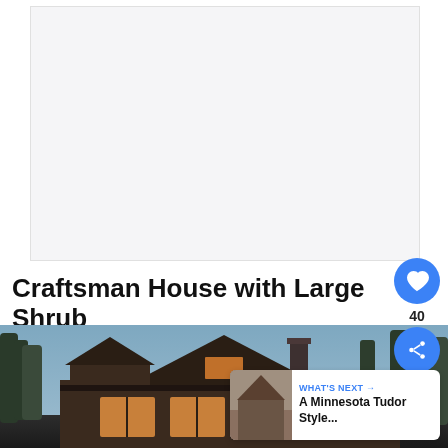[Figure (other): Advertisement placeholder area with light grey background]
Craftsman House with Large Shrub
[Figure (photo): Photograph of a Craftsman style house at dusk with large trees, peaked roof, chimney, and lit windows]
WHAT'S NEXT → A Minnesota Tudor Style...